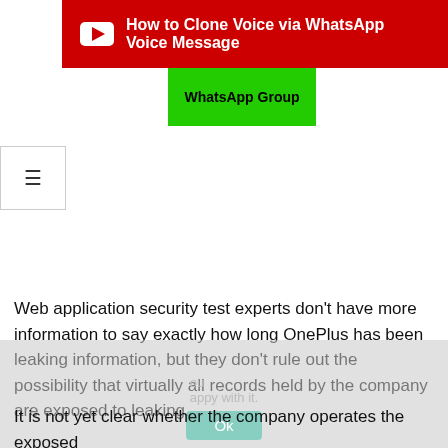[Figure (screenshot): Red YouTube banner with play icon and text 'How to Clone Voice via WhatsApp Voice Message']
[Figure (screenshot): Green WhatsApp Group button]
[Figure (screenshot): Hamburger menu icon in a bordered box]
Web application security test experts don't have more information to say exactly how long OnePlus has been leaking information, but they don't rule out the possibility that virtually all records held by the company are exposed to leaking.
It is not yet clear whether the company operates the exposed